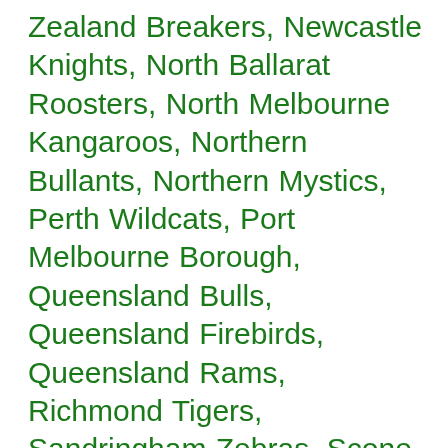Zealand Breakers, Newcastle Knights, North Ballarat Roosters, North Melbourne Kangaroos, Northern Bullants, Northern Mystics, Perth Wildcats, Port Melbourne Borough, Queensland Bulls, Queensland Firebirds, Queensland Rams, Richmond Tigers, Sandringham Zebras, Scone Thoroughbreds, SEABL, South Melbourne Dragons, Southern Steel, Sydney Swifts, Tassie Tigers, Townsville Crocodiles, Townsville Fire, Victoria Aces, Waikato Bay of Plenty Magic, Werribee Tigers, West Coast Fever, Western Australia Force (Western Force), Western Force, Wests Tigers, Wollongong Hawks, Wollongong Roller Hawks Category: Facebook View Comments